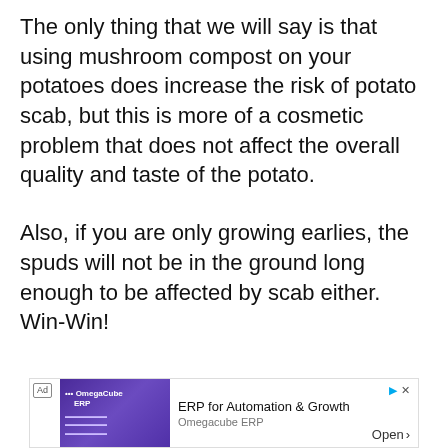The only thing that we will say is that using mushroom compost on your potatoes does increase the risk of potato scab, but this is more of a cosmetic problem that does not affect the overall quality and taste of the potato.
Also, if you are only growing earlies, the spuds will not be in the ground long enough to be affected by scab either. Win-Win!
[Figure (other): Advertisement banner: Ad label, purple ERP software image on left, 'ERP for Automation & Growth' headline, 'Omegacube ERP' subtext, Open button on right]